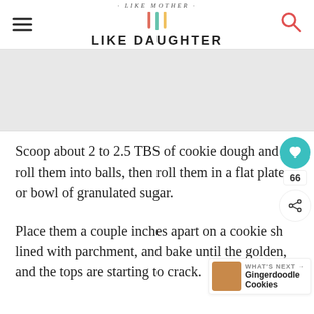LIKE MOTHER LIKE DAUGHTER
[Figure (illustration): Gray placeholder image box]
Scoop about 2 to 2.5 TBS of cookie dough and roll them into balls, then roll them in a flat plate or bowl of granulated sugar.
Place them a couple inches apart on a cookie sh lined with parchment, and bake until the golden, and the tops are starting to crack.